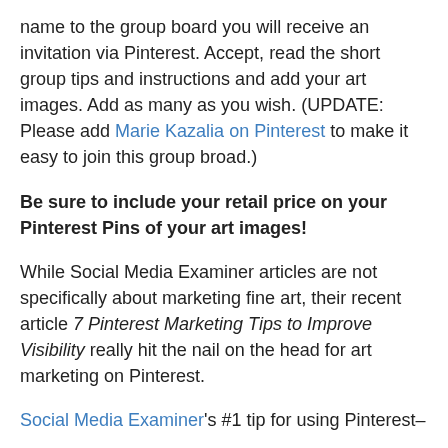name to the group board you will receive an invitation via Pinterest. Accept, read the short group tips and instructions and add your art images. Add as many as you wish. (UPDATE: Please add Marie Kazalia on Pinterest to make it easy to join this group broad.)
Be sure to include your retail price on your Pinterest Pins of your art images!
While Social Media Examiner articles are not specifically about marketing fine art, their recent article 7 Pinterest Marketing Tips to Improve Visibility really hit the nail on the head for art marketing on Pinterest.
Social Media Examiner's #1 tip for using Pinterest–
#1: Include Price Tags